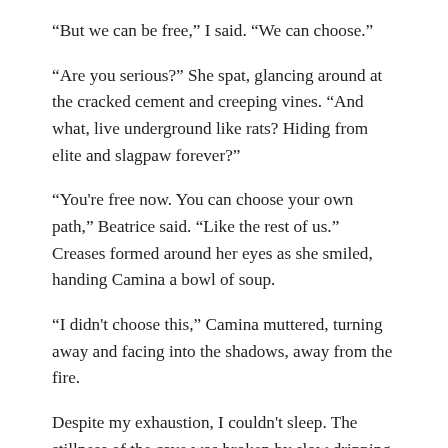“But we can be free,” I said. “We can choose.”
“Are you serious?” She spat, glancing around at the cracked cement and creeping vines. “And what, live underground like rats? Hiding from elite and slagpaw forever?”
“You're free now. You can choose your own path,” Beatrice said. “Like the rest of us.” Creases formed around her eyes as she smiled, handing Camina a bowl of soup.
“I didn't choose this,” Camina muttered, turning away and facing into the shadows, away from the fire.
Despite my exhaustion, I couldn't sleep. The stillness of the cave was broken by slow dripping water and a leathery rustling above that I suspected were bat wings. At any moment the king's troops could slip into the darkness and slit our throats. And yet, I couldn't stop thinking about Damien. Even after he